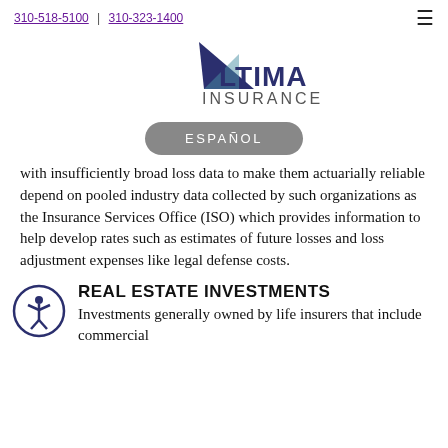310-518-5100 | 310-323-1400
[Figure (logo): Altima Insurance logo with a triangular geometric mark and the text ALTIMA INSURANCE]
ESPAÑOL
with insufficiently broad loss data to make them actuarially reliable depend on pooled industry data collected by such organizations as the Insurance Services Office (ISO) which provides information to help develop rates such as estimates of future losses and loss adjustment expenses like legal defense costs.
[Figure (illustration): Accessibility icon: a circle outline containing a stick figure person with arms raised]
REAL ESTATE INVESTMENTS
Investments generally owned by life insurers that include commercial